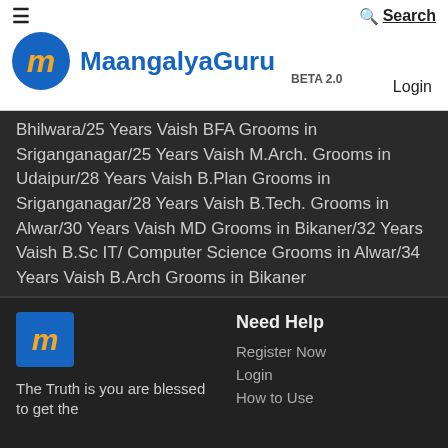MaangalyaGuru BETA 2.0 | Search | Login
Bhilwara/25 Years Vaish BFA Grooms in Sriganganagar/25 Years Vaish M.Arch. Grooms in Udaipur/28 Years Vaish B.Plan Grooms in Sriganganagar/28 Years Vaish B.Tech. Grooms in Alwar/30 Years Vaish MD Grooms in Bikaner/32 Years Vaish B.Sc IT/ Computer Science Grooms in Alwar/34 Years Vaish B.Arch Grooms in Bikaner
23 Years Vaish B.A.M.S. Brides in Jodhpur/26 Years Vaish Aviation Degree Brides in Jodhpur/27 Years Vaish Diploma Brides in Alwar/29 Years Vaish Others Brides in Jodhpur/34 Years Vaish BCA Brides in Udaipur/35 Years Vaish MD Brides in Ajmer/36 Years Vaish B.A.M.S. Brides in Jodhpur/36 Years Vaish M.S.(Engg) Brides in Alwar/36 Years Vaish MFM Brides in Jodhpur/37 Years Vaish MVSc Brides in Jaipur
Need Help | Register Now | Login | How to Use | The Truth is you are blessed to get the